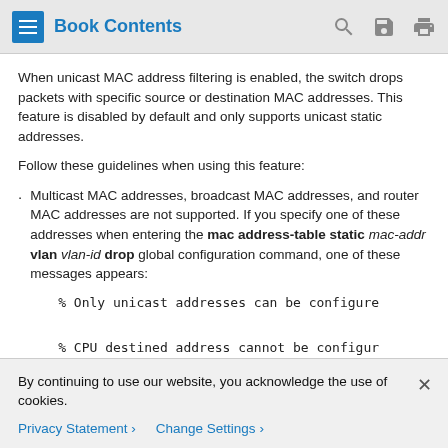Book Contents
When unicast MAC address filtering is enabled, the switch drops packets with specific source or destination MAC addresses. This feature is disabled by default and only supports unicast static addresses.
Follow these guidelines when using this feature:
Multicast MAC addresses, broadcast MAC addresses, and router MAC addresses are not supported. If you specify one of these addresses when entering the mac address-table static mac-addr vlan vlan-id drop global configuration command, one of these messages appears:
% Only unicast addresses can be configure
% CPU destined address cannot be configur
By continuing to use our website, you acknowledge the use of cookies.
Privacy Statement > Change Settings >